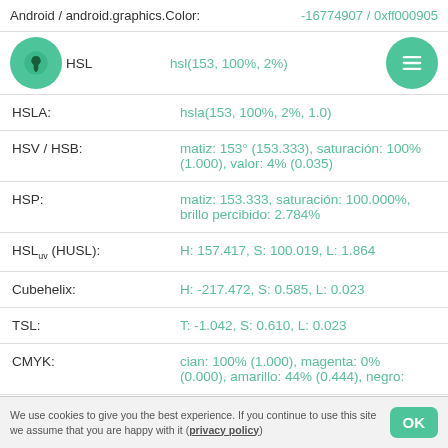Android / android.graphics.Color: -16774907 / 0xff000905
HSL: hsl(153, 100%, 2%)
HSLA: hsla(153, 100%, 2%, 1.0)
HSV / HSB: matiz: 153° (153.333), saturación: 100% (1.000), valor: 4% (0.035)
HSP: matiz: 153.333, saturación: 100.000%, brillo percibido: 2.784%
HSLuv (HUSL): H: 157.417, S: 100.019, L: 1.864
Cubehelix: H: -217.472, S: 0.585, L: 0.023
TSL: T: -1.042, S: 0.610, L: 0.023
CMYK: cian: 100% (1.000), magenta: 0% (0.000), amarillo: 44% (0.444), negro:
We use cookies to give you the best experience. If you continue to use this site we assume that you are happy with it (privacy policy)